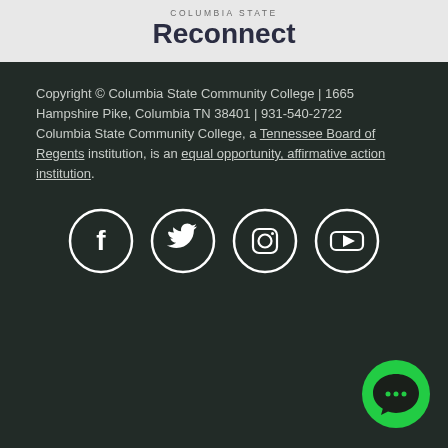COLUMBIA STATE
Reconnect
Copyright © Columbia State Community College | 1665 Hampshire Pike, Columbia TN 38401 | 931-540-2722
Columbia State Community College, a Tennessee Board of Regents institution, is an equal opportunity, affirmative action institution.
[Figure (illustration): Row of four social media icon circles (Facebook, Twitter, Instagram, YouTube) in white outline on dark background]
[Figure (illustration): Green circular chat/message button in the bottom-right corner]